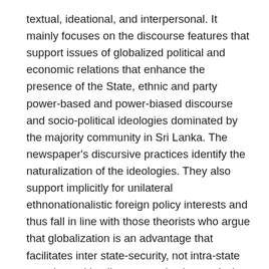textual, ideational, and interpersonal. It mainly focuses on the discourse features that support issues of globalized political and economic relations that enhance the presence of the State, ethnic and party power-based and power-biased discourse and socio-political ideologies dominated by the majority community in Sri Lanka. The newspaper's discursive practices identify the naturalization of the ideologies. They also support implicitly for unilateral ethnonationalistic foreign policy interests and thus fall in line with those theorists who argue that globalization is an advantage that facilitates inter state-security, not intra-state security and implicate a productive analysis of global politics in harmony with that of domestic politics. Thus, representing India's role with positive and negative attributes clearly demonstrates these covert ideological positions of the Sri Lankan media discourse.